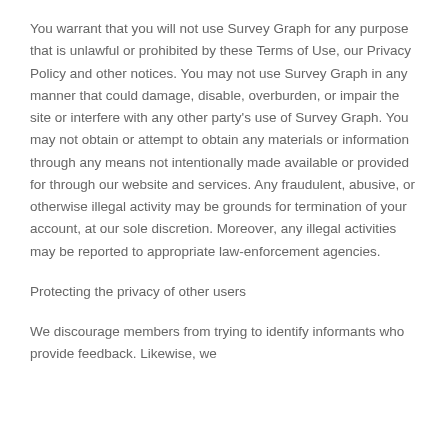You warrant that you will not use Survey Graph for any purpose that is unlawful or prohibited by these Terms of Use, our Privacy Policy and other notices. You may not use Survey Graph in any manner that could damage, disable, overburden, or impair the site or interfere with any other party's use of Survey Graph. You may not obtain or attempt to obtain any materials or information through any means not intentionally made available or provided for through our website and services. Any fraudulent, abusive, or otherwise illegal activity may be grounds for termination of your account, at our sole discretion. Moreover, any illegal activities may be reported to appropriate law-enforcement agencies.
Protecting the privacy of other users
We discourage members from trying to identify informants who provide feedback. Likewise, we discourage members from sharing personal information about other members.